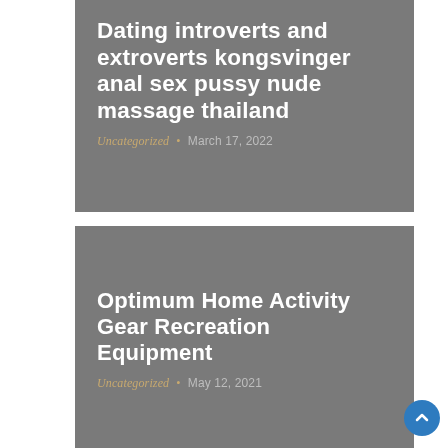[Figure (other): Blog post card with grey background. Title: 'Dating introverts and extroverts kongsvinger anal sex pussy nude massage thailand'. Category: Uncategorized. Date: March 17, 2022.]
[Figure (other): Blog post card with grey background. Title: 'Optimum Home Activity Gear Recreation Equipment'. Category: Uncategorized. Date: May 12, 2021.]